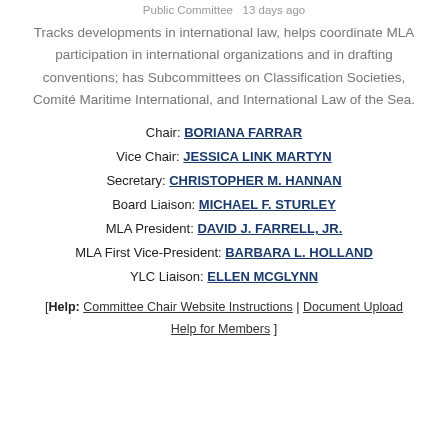Public Committee   13 days ago
Tracks developments in international law, helps coordinate MLA participation in international organizations and in drafting conventions; has Subcommittees on Classification Societies, Comité Maritime International, and International Law of the Sea.
Chair: BORIANA FARRAR
Vice Chair: JESSICA LINK MARTYN
Secretary: CHRISTOPHER M. HANNAN
Board Liaison: MICHAEL F. STURLEY
MLA President: DAVID J. FARRELL, JR.
MLA First Vice-President: BARBARA L. HOLLAND
YLC Liaison: ELLEN MCGLYNN
[Help: Committee Chair Website Instructions | Document Upload Help for Members ]